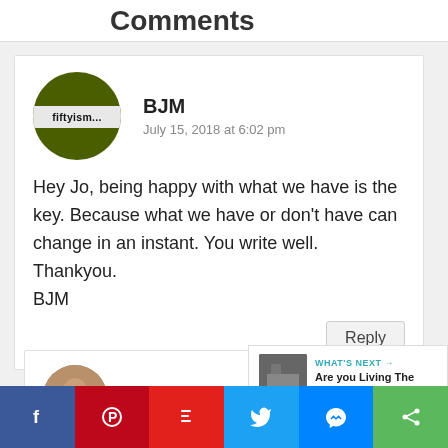Comments
[Figure (illustration): Dark olive green circular avatar with a white band showing text 'fiftyism...']
BJM
July 15, 2018 at 6:02 pm
Hey Jo, being happy with what we have is the key. Because what we have or don't have can change in an instant. You write well. Thankyou.
BJM
[Figure (illustration): Brown circular avatar photo of Johanna]
Johanna
Social sharing bar: Facebook, Pinterest, Flipboard, Twitter, Messenger, Share